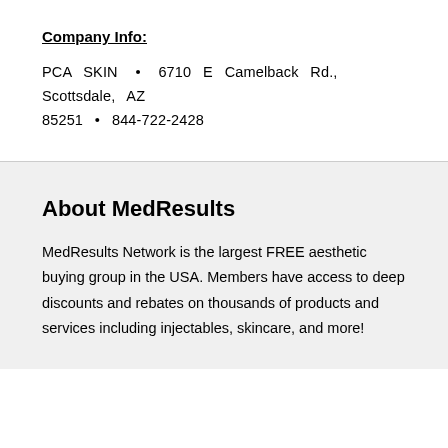Company Info:
PCA SKIN • 6710 E Camelback Rd., Scottsdale, AZ 85251 • 844-722-2428
About MedResults
MedResults Network is the largest FREE aesthetic buying group in the USA. Members have access to deep discounts and rebates on thousands of products and services including injectables, skincare, and more!